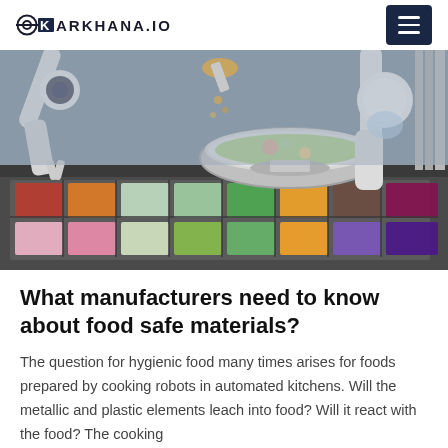KARKHANA.IO
[Figure (photo): Robotic arms operating over a food preparation station with stainless steel bowls and trays of various chopped ingredients in a commercial automated kitchen setting.]
What manufacturers need to know about food safe materials?
The question for hygienic food many times arises for foods prepared by cooking robots in automated kitchens. Will the metallic and plastic elements leach into food? Will it react with the food? The cooking